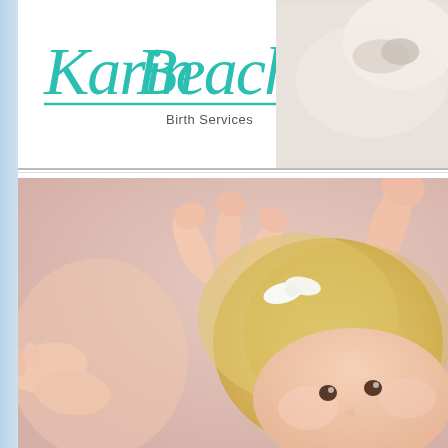[Figure (logo): Karin Beach Birth Services logo with teal/turquoise cursive script text and underline]
[Figure (photo): Photo of a young blonde toddler girl with a white bow in her hair, lying down with legs up, against a soft pink background, with an adult's hands visible]